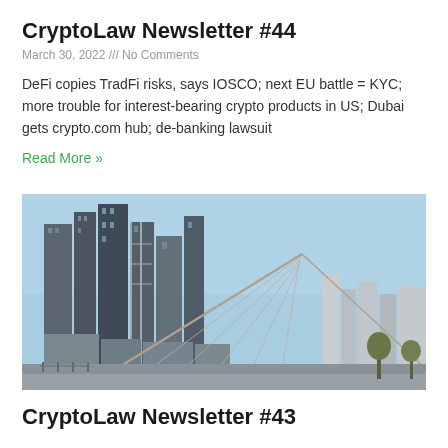CryptoLaw Newsletter #44
March 30, 2022 /// No Comments
DeFi copies TradFi risks, says IOSCO; next EU battle = KYC; more trouble for interest-bearing crypto products in US; Dubai gets crypto.com hub; de-banking lawsuit
Read More »
[Figure (photo): City skyline with modern skyscrapers and a suspension bridge structure in the foreground, under a clear blue sky.]
CryptoLaw Newsletter #43